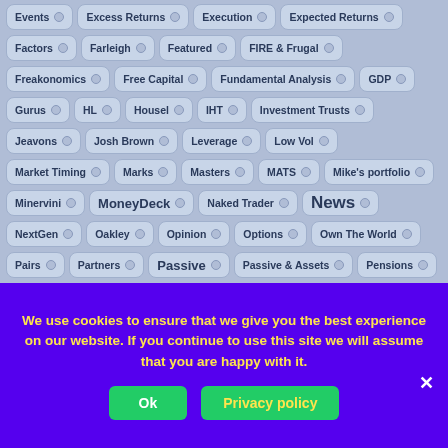Events
Excess Returns
Execution
Expected Returns
Factors
Farleigh
Featured
FIRE & Frugal
Freakonomics
Free Capital
Fundamental Analysis
GDP
Gurus
HL
Housel
IHT
Investment Trusts
Jeavons
Josh Brown
Leverage
Low Vol
Market Timing
Marks
Masters
MATS
Mike's portfolio
Minervini
MoneyDeck
Naked Trader
News
NextGen
Oakley
Opinion
Options
Own The World
Pairs
Partners
Passive
Passive & Assets
Pensions
Piggyback
Portfolios
Pryor
Psychology
R2R
Rebalancing
We use cookies to ensure that we give you the best experience on our website. If you continue to use this site we will assume that you are happy with it.